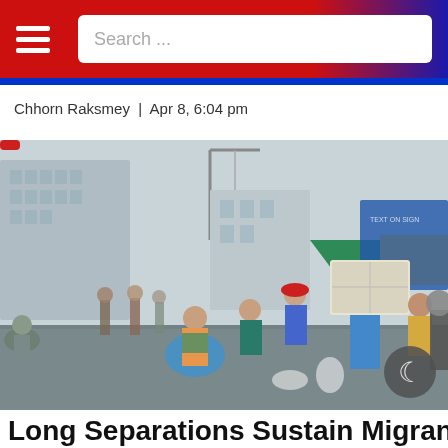Search ...
Chhorn Raksmey  |  Apr 8, 6:04 pm
[Figure (photo): A large crowd of people carrying bags and boxes walking along a busy street market area with urban buildings and colorful tents in the background. A man in the foreground carries a large box overhead. People are carrying belongings, suggesting migrant workers traveling.]
Long Separations Sustain Migrant